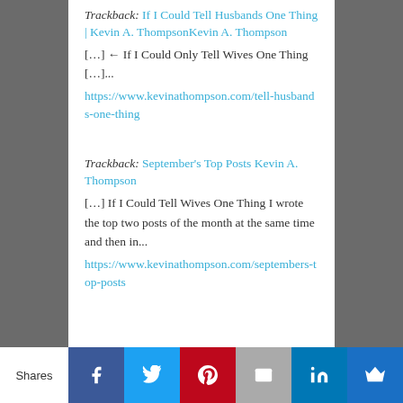Trackback: If I Could Tell Husbands One Thing | Kevin A. ThompsonKevin A. Thompson
[…] ← If I Could Only Tell Wives One Thing […]...
https://www.kevinathompson.com/tell-husbands-one-thing
Trackback: September's Top Posts Kevin A. Thompson
[…] If I Could Tell Wives One Thing I wrote the top two posts of the month at the same time and then in...
https://www.kevinathompson.com/septembers-top-posts
Shares | Facebook | Twitter | Pinterest | Email | LinkedIn | Crown